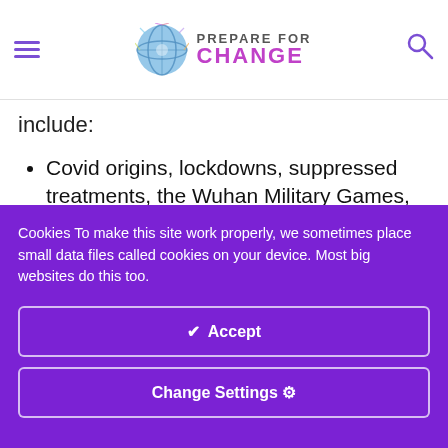Prepare For Change
include:
Covid origins, lockdowns, suppressed treatments, the Wuhan Military Games, Event 201
Election integrity, the recent Australian election, 2000
Cookies To make this site work properly, we sometimes place small data files called cookies on your device. Most big websites do this too.
Accept
Change Settings